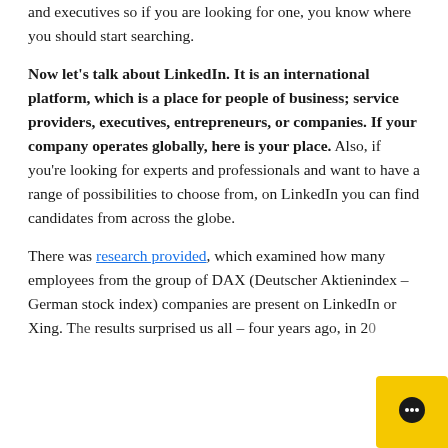and executives so if you are looking for one, you know where you should start searching.
Now let's talk about LinkedIn. It is an international platform, which is a place for people of business; service providers, executives, entrepreneurs, or companies. If your company operates globally, here is your place. Also, if you're looking for experts and professionals and want to have a range of possibilities to choose from, on LinkedIn you can find candidates from across the globe.
There was research provided, which examined how many employees from the group of DAX (Deutscher Aktienindex – German stock index) companies are present on LinkedIn or Xing. The results surprised us all – four years ago, in 20...